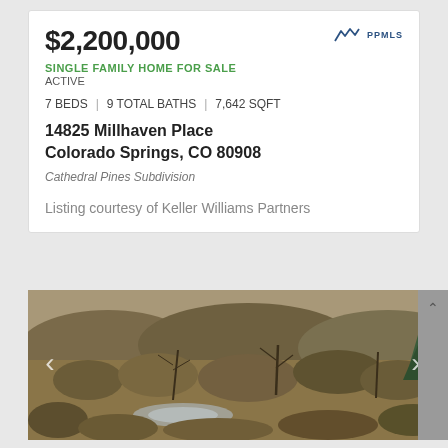$2,200,000
SINGLE FAMILY HOME FOR SALE
ACTIVE
7 BEDS | 9 TOTAL BATHS | 7,642 SQFT
14825 Millhaven Place
Colorado Springs, CO 80908
Cathedral Pines Subdivision
Listing courtesy of Keller Williams Partners
[Figure (photo): Outdoor landscape photo showing a hillside with dry brush, bare trees and shrubs, and a small water feature or creek in the foreground. Muted autumn/winter colors with browns and tans. Navigation arrows on left and right.]